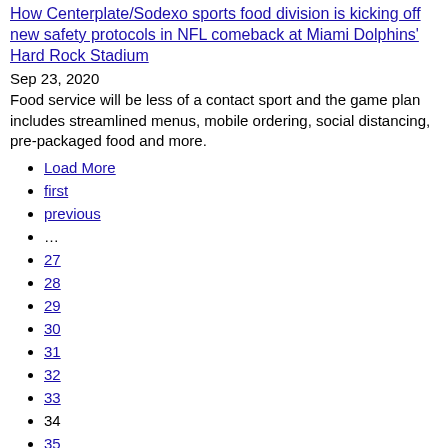How Centerplate/Sodexo sports food division is kicking off new safety protocols in NFL comeback at Miami Dolphins' Hard Rock Stadium
Sep 23, 2020
Food service will be less of a contact sport and the game plan includes streamlined menus, mobile ordering, social distancing, pre-packaged food and more.
Load More
first
previous
...
27
28
29
30
31
32
33
34
35
next
last
Load More